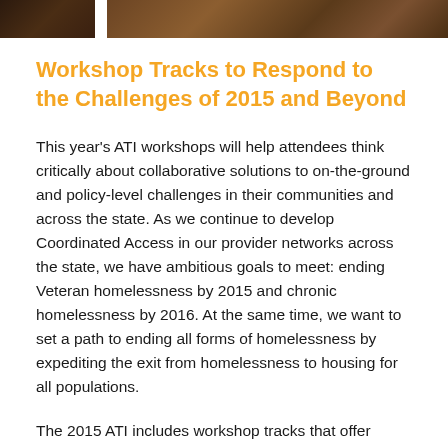[Figure (photo): Cropped photo strip showing people at a workshop or conference event, dark/brown toned image.]
Workshop Tracks to Respond to the Challenges of 2015 and Beyond
This year’s ATI workshops will help attendees think critically about collaborative solutions to on-the-ground and policy-level challenges in their communities and across the state. As we continue to develop Coordinated Access in our provider networks across the state, we have ambitious goals to meet: ending Veteran homelessness by 2015 and chronic homelessness by 2016.  At the same time, we want to set a path to ending all forms of homelessness by expediting the exit from homelessness to housing for all populations.
The 2015 ATI includes workshop tracks that offer diverse areas of learning for practitioners, community leaders, funders, developers, and people currently or formerly experiencing